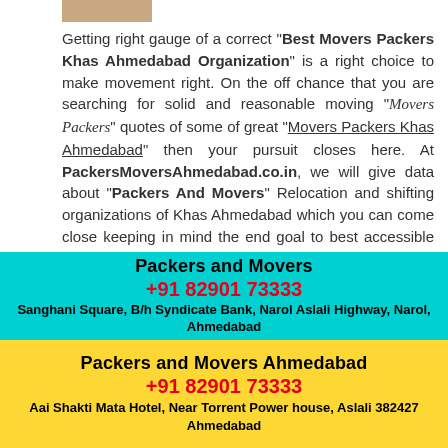[Figure (photo): Partial photo of people at top left]
Getting right gauge of a correct "Best Movers Packers Khas Ahmedabad Organization" is a right choice to make movement right. On the off chance that you are searching for solid and reasonable moving "Movers Packers" quotes of some of great "Movers Packers Khas Ahmedabad" then your pursuit closes here. At PackersMoversAhmedabad.co.in, we will give data about "Packers And Movers" Relocation and shifting organizations of Khas Ahmedabad which you can come close keeping in mind the end goal to best accessible alternative. This will help you spare time and vitality. In the event that you would prefer not to contact all these "Packers Movers Khas Ahmedabad" organization as it may take as much time as required of course we have answer for you as single inquiry structure. When we receive information from you we will Khas Ahmedabad" organizations look at quotes and pick the most sensible Packers Movers Packers Khas Ahmedabad
Packers and Movers
+91 82901 73333
Sanghani Square, B/h Syndicate Bank, Narol Aslali Highway, Narol, Ahmedabad
Packers and Movers Ahmedabad
+91 82901 73333
Aai Shakti Mata Hotel, Near Torrent Power house, Aslali 382427 Ahmedabad